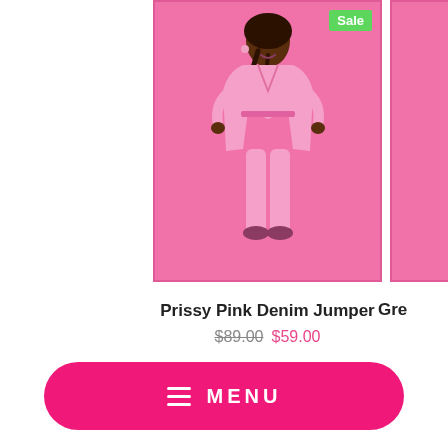[Figure (photo): Product photo of a woman wearing a pink denim jumper on a pink background, with a green 'Sale' badge in the top-right corner]
Prissy Pink Denim Jumper
$89.00 $59.00
[Figure (photo): Partial product photo on right edge, cropped, pink background]
Gre
MENU